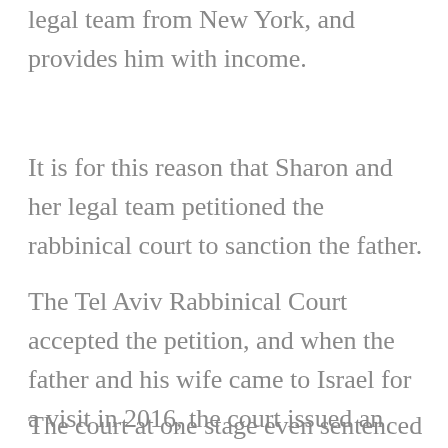legal team from New York, and provides him with income.
It is for this reason that Sharon and her legal team petitioned the rabbinical court to sanction the father.
The Tel Aviv Rabbinical Court accepted the petition, and when the father and his wife came to Israel for a visit in 2016, the court issued an order banning them from leaving the country and summoned them to give testimony to the court.
The court at one stage even sentenced the father to 30